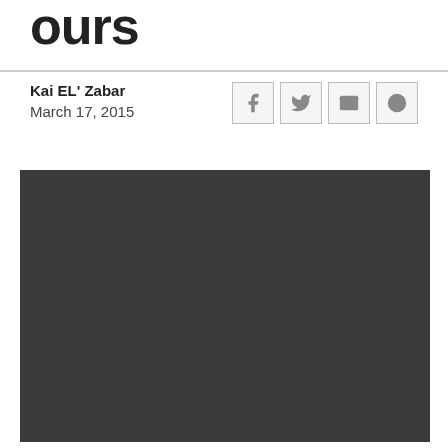ours
Kai EL' Zabar
March 17, 2015
[Figure (illustration): Dark grey patterned background with repeating video/play button icons in speech bubbles]